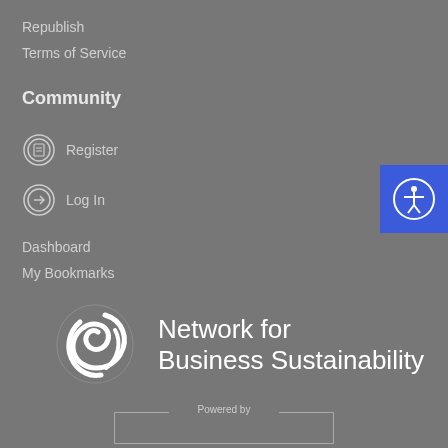Republish
Terms of Service
Community
Register
Log In
Dashboard
My Bookmarks
[Figure (logo): Network for Business Sustainability logo with white swirl icon and white text reading 'Network for Business Sustainability']
[Figure (logo): Accessibility icon button (blue square with white person icon with outstretched arms in a circle)]
Powered by